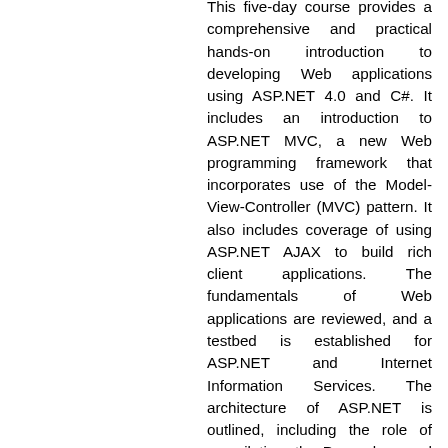This five-day course provides a comprehensive and practical hands-on introduction to developing Web applications using ASP.NET 4.0 and C#. It includes an introduction to ASP.NET MVC, a new Web programming framework that incorporates use of the Model-View-Controller (MVC) pattern. It also includes coverage of using ASP.NET AJAX to build rich client applications. The fundamentals of Web applications are reviewed, and a testbed is established for ASP.NET and Internet Information Services. The architecture of ASP.NET is outlined, including the role of compilation, the Page class and code-behind. Web Forms are introduced, including server controls, view state, life cycle, and the event model. Request/response HTTP programming using ASP.NET is